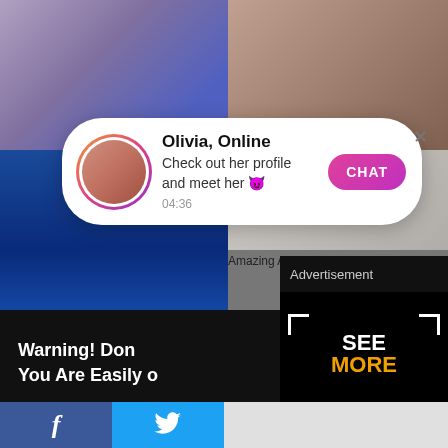[Figure (screenshot): Background showing adult content images partially visible behind overlaid popups and advertisements]
Olivia, Online
Check out her profile and meet her 😈
04:36
CHAT
Amazing Aleira Avendano
Advertisement
X
Warning! Don't... You Are Easily o...
Play No...
SEE MORE
f
Twitter bird icon